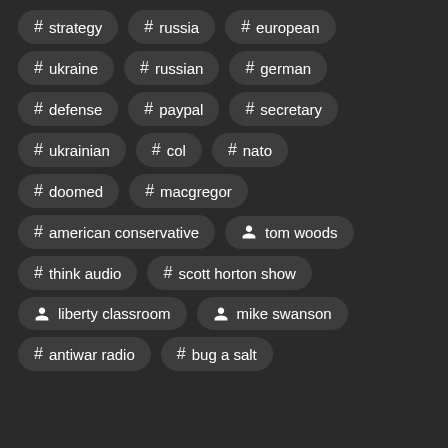# strategy
# russia
# european
# ukraine
# russian
# german
# defense
# paypal
# secretary
# ukrainian
# col
# nato
# doomed
# macgregor
# american conservative
tom woods
# think audio
# scott horton show
liberty classroom
mike swanson
# antiwar radio
# bug a salt